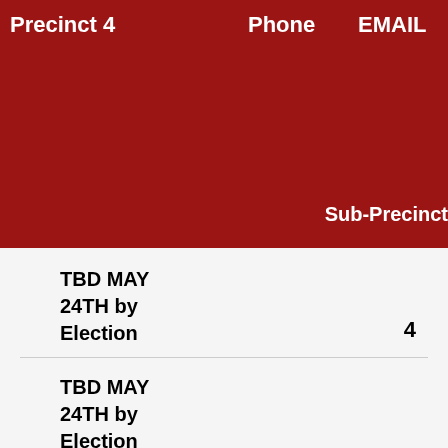Precinct 4   Phone   EMAIL   Sub-Precinct
TBD MAY
24TH by
Election
4
TBD MAY
24TH by
Election